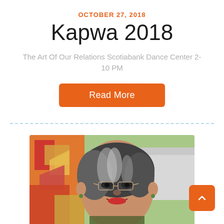OCTOBER 27, 2018
Kapwa 2018
The Art Of Our Relations Scotiabank Dance Center 2-10 PM
Read More
[Figure (photo): Portrait photo of a smiling older Asian woman with short gray-streaked hair and glasses, with colorful artwork visible in the background]
[Figure (other): Orange scroll-to-top button with upward chevron arrow in bottom right corner]